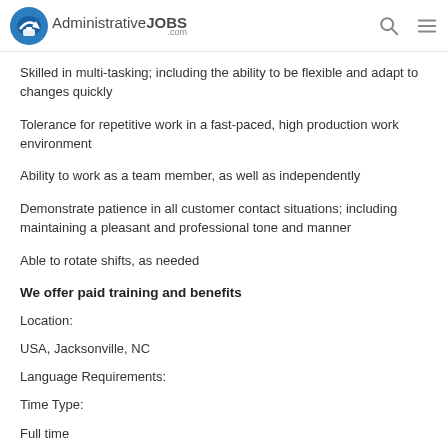AdministrativeJOBS .com
Skilled in multi-tasking; including the ability to be flexible and adapt to changes quickly
Tolerance for repetitive work in a fast-paced, high production work environment
Ability to work as a team member, as well as independently
Demonstrate patience in all customer contact situations; including maintaining a pleasant and professional tone and manner
Able to rotate shifts, as needed
We offer paid training and benefits
Location:
USA, Jacksonville, NC
Language Requirements:
Time Type:
Full time